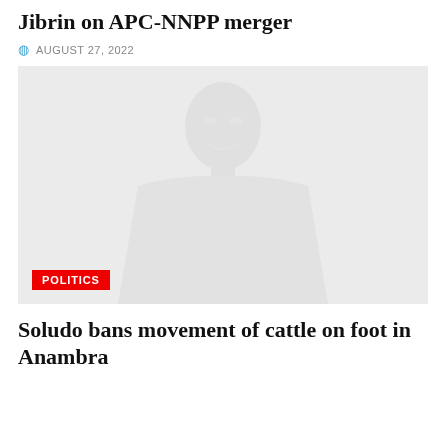Jibrin on APC-NNPP merger
AUGUST 27, 2022
[Figure (photo): A faded/light photograph of a person, with a red POLITICS badge in the lower left corner.]
POLITICS
Soludo bans movement of cattle on foot in Anambra